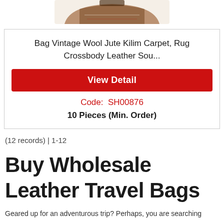[Figure (photo): Partial view of a vintage wool jute kilim carpet rug crossbody leather bag at top of product card]
Bag Vintage Wool Jute Kilim Carpet, Rug Crossbody Leather Sou...
View Detail
Code: SH00876
10 Pieces (Min. Order)
(12 records) | 1-12
Buy Wholesale Leather Travel Bags
Geared up for an adventurous trip? Perhaps, you are searching